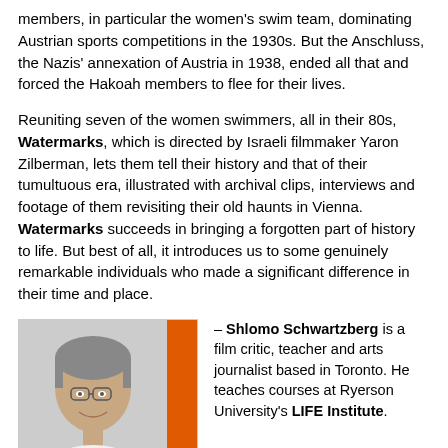members, in particular the women's swim team, dominating Austrian sports competitions in the 1930s. But the Anschluss, the Nazis' annexation of Austria in 1938, ended all that and forced the Hakoah members to flee for their lives.
Reuniting seven of the women swimmers, all in their 80s, Watermarks, which is directed by Israeli filmmaker Yaron Zilberman, lets them tell their history and that of their tumultuous era, illustrated with archival clips, interviews and footage of them revisiting their old haunts in Vienna. Watermarks succeeds in bringing a forgotten part of history to life. But best of all, it introduces us to some genuinely remarkable individuals who made a significant difference in their time and place.
[Figure (photo): Headshot photo of Shlomo Schwartzberg, a man with grey hair and glasses, smiling, wearing a white shirt. Orange vertical bar on the right side of the photo.]
– Shlomo Schwartzberg is a film critic, teacher and arts journalist based in Toronto. He teaches courses at Ryerson University's LIFE Institute.